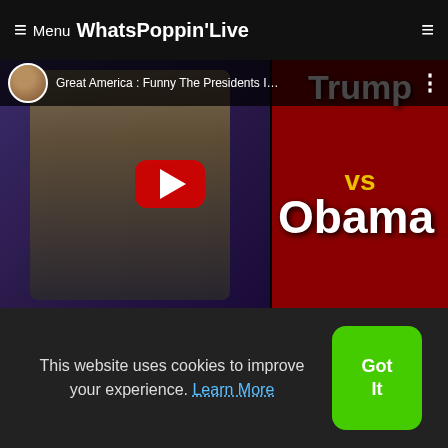≡ Menu WhatsPoppin'Live
[Figure (screenshot): YouTube video thumbnail for 'Great America : Funny The Presidents I…' showing a man in ornate jacket on left, and Trump vs Obama text on red background on right, with red YouTube play button overlay]
[Figure (screenshot): Video thumbnail showing Eddie Griffin as The Mask character with green face, with caption 'Eddie Griffin On Donald']
This website uses cookies to improve your experience. Learn More
Got It